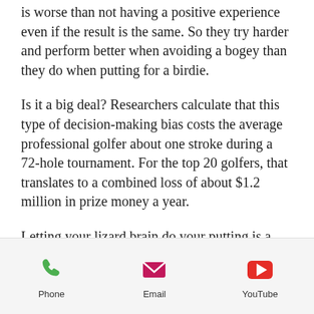is worse than not having a positive experience even if the result is the same. So they try harder and perform better when avoiding a bogey than they do when putting for a birdie.
Is it a big deal? Researchers calculate that this type of decision-making bias costs the average professional golfer about one stroke during a 72-hole tournament. For the top 20 golfers, that translates to a combined loss of about $1.2 million in prize money a year.
Letting your lizard brain do your putting is a bad idea!
[Figure (infographic): Mobile app bottom navigation bar with three icons: Phone (green phone icon), Email (pink/red envelope icon), YouTube (red YouTube play button icon)]